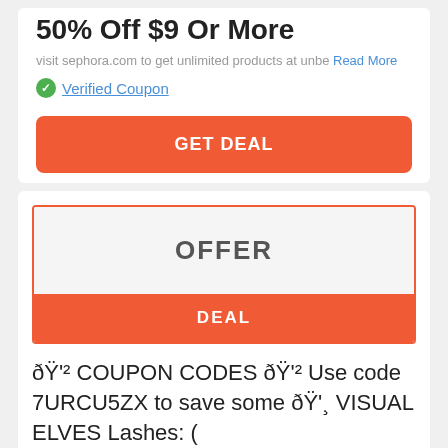50% Off $9 Or More
visit sephora.com to get unlimited products at unbe... Read More
✓ Verified Coupon
GET DEAL
OFFER
DEAL
🏷² COUPON CODES 🏷² Use code 7URCU5ZX to save some 🏷¸ VISUAL ELVES Lashes: ( https://.visualelves.com ï¼‰
Super Saving offer!!Avail products at unimaginable Read More